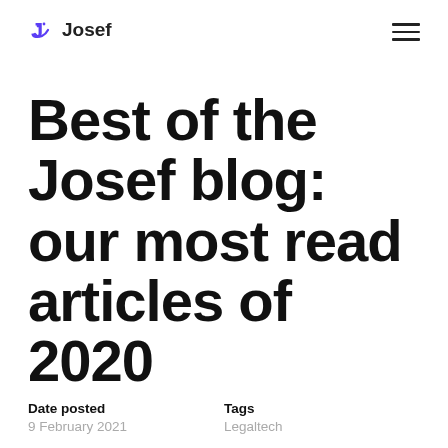Josef
Best of the Josef blog: our most read articles of 2020
Date posted
9 February 2021
Tags
Legaltech